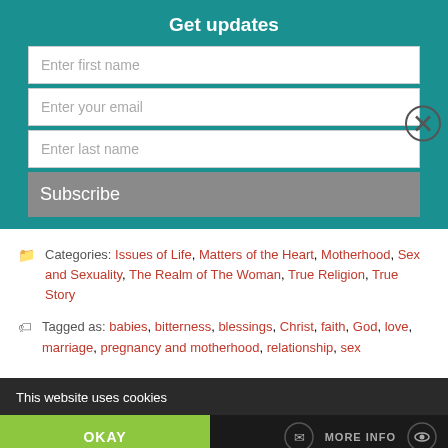Get updates
Enter first name
Enter your email
Enter last name
Subscribe
Categories: Issues of Life, Matters of the Heart, Motherhood, Sex and Sexuality, The Realm of The Woman, True Religion, True Story
Tagged as: babies, bitterness, blessings, Christ, faith, God, love, marriage, pregnancy and motherhood, relationship, sex
This website uses cookies
OKAY
MORE INFO